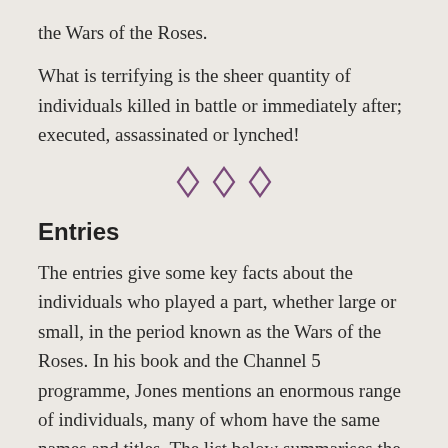the Wars of the Roses.
What is terrifying is the sheer quantity of individuals killed in battle or immediately after; executed, assassinated or lynched!
[Figure (illustration): Three purple diamond/rhombus decorative divider symbols in a row]
Entries
The entries give some key facts about the individuals who played a part, whether large or small, in the period known as the Wars of the Roses. In his book and the Channel 5 programme, Jones mentions an enormous range of individuals, many of whom have the same names and titles. The list below summarises the key facts about each one. Although some of the protagonists always supported either Lancaster or York, many changed allegiance over